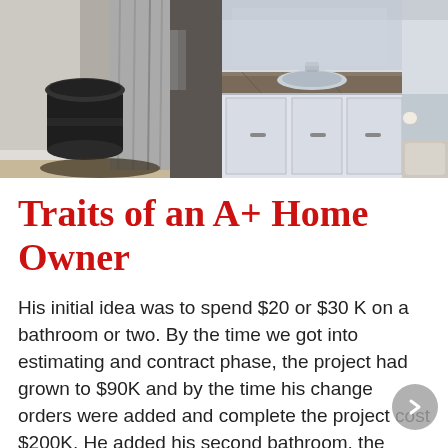[Figure (photo): Two bathroom photos side by side: left photo shows a bathroom corner with a black cylindrical trash can, curtain, and floor mat; right photo shows a bathroom vanity with white/gray cabinets, granite countertop, sink, and toilet paper holder.]
Traits of an A+ Home Owner
His initial idea was to spend $20 or $30 K on a bathroom or two. By the time we got into estimating and contract phase, the project had grown to $90K and by the time his change orders were added and complete the project cost $200K. He added his second bathroom, the kitchen, living room/dining room area, and custom built-in entertainment center cabinetry.